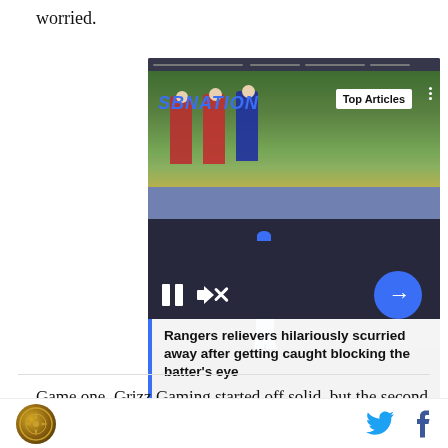worried.
[Figure (screenshot): Embedded video player from SBNation showing baseball players. Top Articles badge visible. Title overlay reads: Rangers relievers hilariously scurried away after getting caught blocking the batter's eye. Pause and mute controls visible with a blue circular arrow button.]
Game one, Grizz Gaming started off solid, but the second half is where the wheels started coming off the wagon. The Grizz carried a 28-24 lead into the half, but
SBNation logo | Twitter icon | Facebook icon